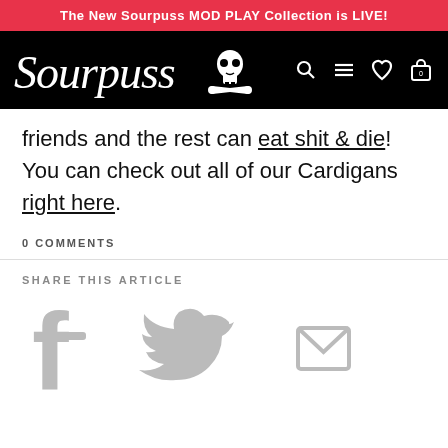The New Sourpuss MOD PLAY Collection is LIVE!
[Figure (logo): Sourpuss logo with skull and crossbones on black navigation bar with search, menu, heart, and cart icons]
friends and the rest can eat shit & die! You can check out all of our Cardigans right here.
0 COMMENTS
SHARE THIS ARTICLE
[Figure (illustration): Social share icons: Facebook (f), Twitter bird, and email envelope, all in gray]